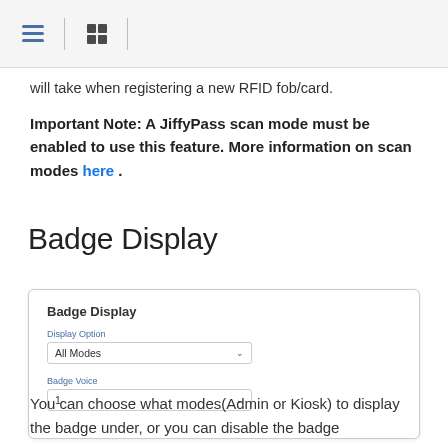Navigation header with hamburger menu and table icon
will take when registering a new RFID fob/card.
Important Note: A JiffyPass scan mode must be enabled to use this feature. More information on scan modes here .
Badge Display
[Figure (screenshot): Badge Display settings panel with Display Option dropdown set to 'All Modes' and Badge Voice dropdown set to '1']
You can choose what modes(Admin or Kiosk) to display the badge under, or you can disable the badge